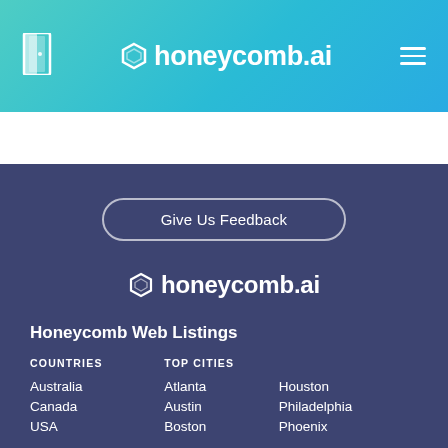honeycomb.ai
Give Us Feedback
[Figure (logo): honeycomb.ai logo in white on dark blue background]
Honeycomb Web Listings
COUNTRIES
TOP CITIES
Australia
Canada
USA
Atlanta
Austin
Boston
Houston
Philadelphia
Phoenix